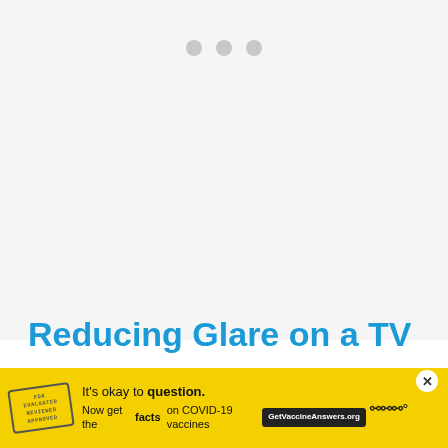[Figure (other): Light gray background area with three gray dots (pagination/loading indicator) centered near the top]
Reducing Glare on a TV
TV glare is produced when different sources of light, such as natural sunlight or artificial lighting, come in di... on
[Figure (other): Yellow advertisement banner overlay at the bottom of the page. Contains a stamp logo, text 'It's okay to question.' and 'Now get the facts on COVID-19 vaccines' with GetVaccineAnswers.org button and WiFi/M symbol. Has a close (X) button.]